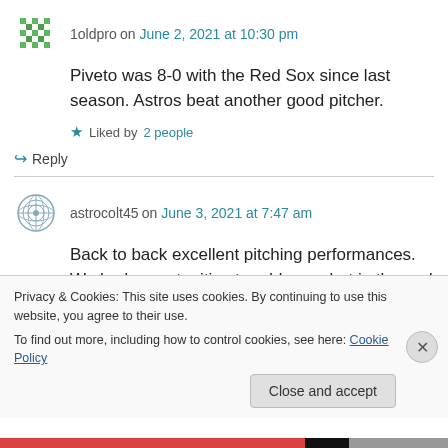1oldpro on June 2, 2021 at 10:30 pm
Piveto was 8-0 with the Red Sox since last season. Astros beat another good pitcher.
Liked by 2 people
Reply
astrocolt45 on June 3, 2021 at 7:47 am
Back to back excellent pitching performances. We had opportunities to add runs, but in the end
Privacy & Cookies: This site uses cookies. By continuing to use this website, you agree to their use. To find out more, including how to control cookies, see here: Cookie Policy
Close and accept